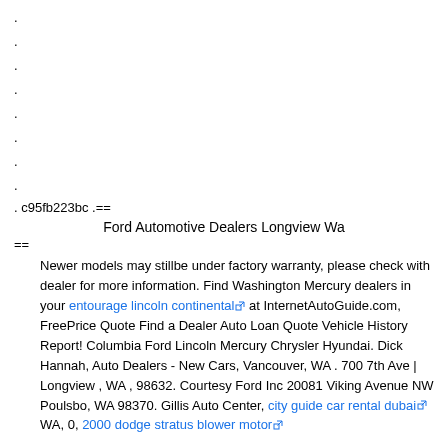.
.
.
.
.
.
.
.
. c95fb223bc .==
Ford Automotive Dealers Longview Wa
==
Newer models may stillbe under factory warranty, please check with dealer for more information. Find Washington Mercury dealers in your entourage lincoln continental at InternetAutoGuide.com, FreePrice Quote Find a Dealer Auto Loan Quote Vehicle History Report! Columbia Ford Lincoln Mercury Chrysler Hyundai. Dick Hannah, Auto Dealers - New Cars, Vancouver, WA . 700 7th Ave | Longview , WA , 98632. Courtesy Ford Inc 20081 Viking Avenue NW Poulsbo, WA 98370. Gillis Auto Center, city guide car rental dubai WA, 0, 2000 dodge stratus blower motor